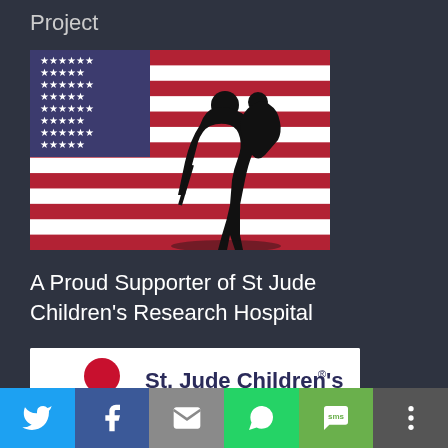Project
[Figure (illustration): American flag with a silhouette of a soldier carrying another soldier (wounded warrior motif)]
A Proud Supporter of St Jude Children's Research Hospital
[Figure (logo): St. Jude Children's Research Hospital logo with red child silhouette and hospital name text]
Social share bar with Twitter, Facebook, Email, WhatsApp, SMS, and More buttons